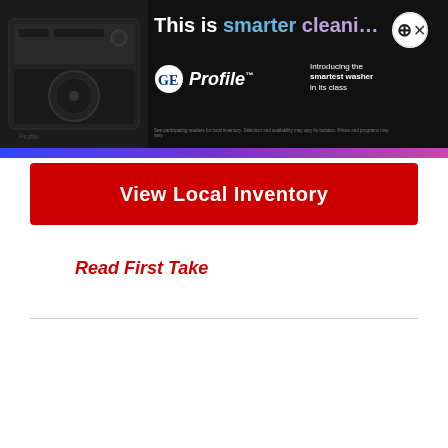[Figure (photo): GE Profile washer advertisement banner with washer image on left, headline 'This is smarter cleaning.' in white and colored text, GE Profile logo, and tagline 'Introducing the smartest washer in its class']
View Local Inventory
Read First Take